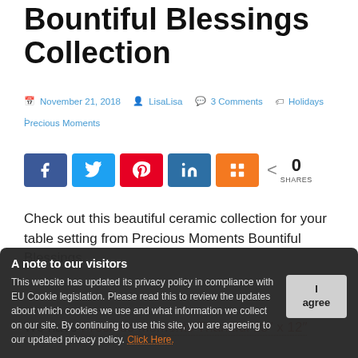Bountiful Blessings Collection
November 21, 2018  LisaLisa  3 Comments  Holidays, Precious Moments
[Figure (infographic): Social share buttons: Facebook (blue), Twitter (light blue), Pinterest (red), LinkedIn (dark blue), Mix (orange), and a share count showing 0 SHARES]
Check out this beautiful ceramic collection for your table setting from Precious Moments Bountiful Blessings.
We have Precious Moments Thankful 18" x 12"
A note to our visitors
This website has updated its privacy policy in compliance with EU Cookie legislation. Please read this to review the updates about which cookies we use and what information we collect on our site. By continuing to use this site, you are agreeing to our updated privacy policy. Click Here.